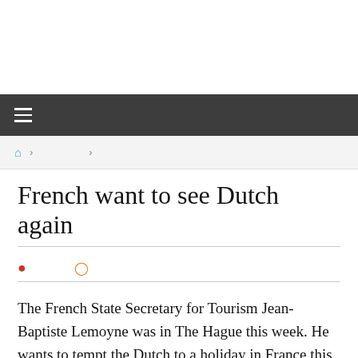≡
🏠 › ›
French want to see Dutch again
👤  🕐
The French State Secretary for Tourism Jean-Baptiste Lemoyne was in The Hague this week. He wants to tempt the Dutch to a holiday in France this summer. And that may cost something: everyone gets a free test to return home with. Tourism is of great importance to France. The